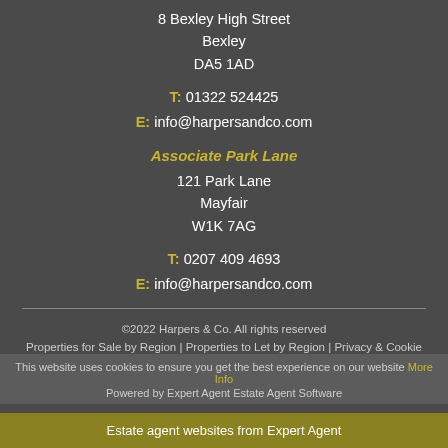8 Bexley High Street
Bexley
DA5 1AD
T: 01322 524425
E: info@harpersandco.com
Associate Park Lane
121 Park Lane
Mayfair
W1K 7AG
T: 0207 409 4693
E: info@harpersandco.com
©2022 Harpers & Co. All rights reserved
Properties for Sale by Region | Properties to Let by Region | Privacy & Cookie Policy | Complaints Procedure
This website uses cookies to ensure you get the best experience on our website More Info
Powered by Expert Agent Estate Agent Software
Estate agent websites from Expert Agent